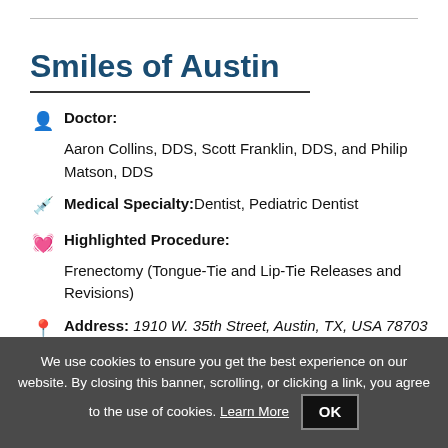Smiles of Austin
Doctor: Aaron Collins, DDS, Scott Franklin, DDS, and Philip Matson, DDS
Medical Specialty: Dentist, Pediatric Dentist
Highlighted Procedure: Frenectomy (Tongue-Tie and Lip-Tie Releases and Revisions)
Address: 1910 W. 35th Street, Austin, TX, USA 78703
Phone: 512-451-8310
We use cookies to ensure you get the best experience on our website. By closing this banner, scrolling, or clicking a link, you agree to the use of cookies. Learn More OK